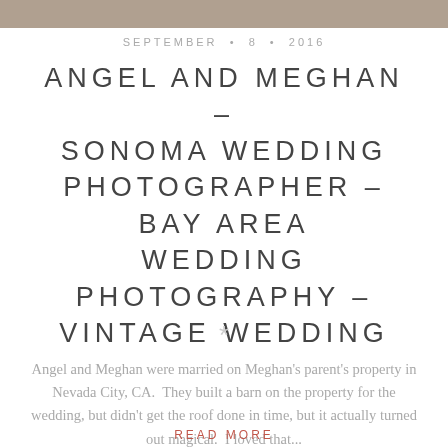[Figure (photo): Partial photo strip at top of page, showing a cropped wedding or outdoor photograph]
SEPTEMBER • 8 • 2016
ANGEL AND MEGHAN – SONOMA WEDDING PHOTOGRAPHER – BAY AREA WEDDING PHOTOGRAPHY – VINTAGE WEDDING
*
Angel and Meghan were married on Meghan's parent's property in Nevada City, CA.  They built a barn on the property for the wedding, but didn't get the roof done in time, but it actually turned out magical.  I loved that...
READ MORE